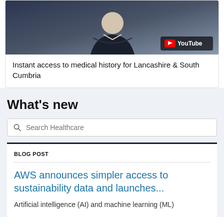[Figure (screenshot): YouTube video thumbnail showing a person in a dark blazer against a grey background, with a YouTube logo badge in the bottom right corner]
Instant access to medical history for Lancashire & South Cumbria
What's new
Search Healthcare
BLOG POST
AWS announces simpler access to sustainability data and launches...
Artificial intelligence (AI) and machine learning (ML)